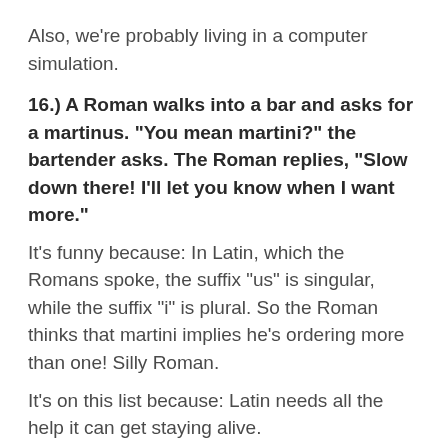Also, we're probably living in a computer simulation.
16.) A Roman walks into a bar and asks for a martinus. "You mean martini?" the bartender asks. The Roman replies, "Slow down there! I'll let you know when I want more."
It's funny because: In Latin, which the Romans spoke, the suffix "us" is singular, while the suffix "i" is plural. So the Roman thinks that martini implies he's ordering more than one! Silly Roman.
It's on this list because: Latin needs all the help it can get staying alive.
17.) What does a dyslexic, agnostic, insomniac do at night? He stays up wondering if there really is a